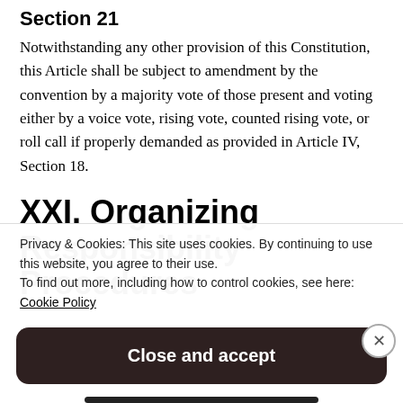Section 21
Notwithstanding any other provision of this Constitution, this Article shall be subject to amendment by the convention by a majority vote of those present and voting either by a voice vote, rising vote, counted rising vote, or roll call if properly demanded as provided in Article IV, Section 18.
XXI. Organizing Responsibility Procedures
Privacy & Cookies: This site uses cookies. By continuing to use this website, you agree to their use.
To find out more, including how to control cookies, see here:
Cookie Policy
Close and accept